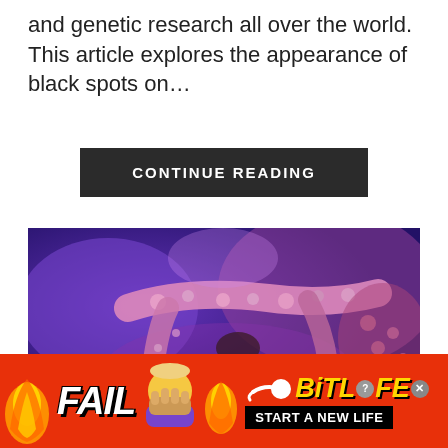and genetic research all over the world. This article explores the appearance of black spots on…
CONTINUE READING
[Figure (photo): Close-up photo of coral or marine organism with purple, pink and white hues, tentacle-like structures visible under what appears to be UV or blue lighting]
[Figure (infographic): Advertisement banner for BitLife game. Red background with 'FAIL' text, facepalm emoji, fire emoji, sperm icon, 'BITLIFE' logo in yellow, and 'START A NEW LIFE' text on black background]